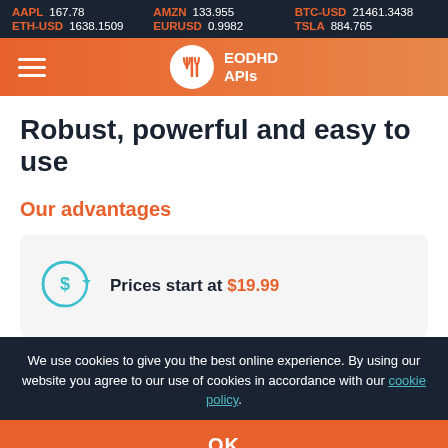AAPL 167.78  AMZN 133.955  BTC-USD 21461.3438  ETH-USD 1638.1509  EURUSD 0.9982  TSLA 884.765
[Figure (logo): EODHD APIs logo with fork/knife/spoon icon in orange circle on orange navigation bar]
Robust, powerful and easy to use
Our advantages
Prices start at $19.99
We use cookies to give you the best online experience. By using our website you agree to our use of cookies in accordance with our cookie policy.
OK